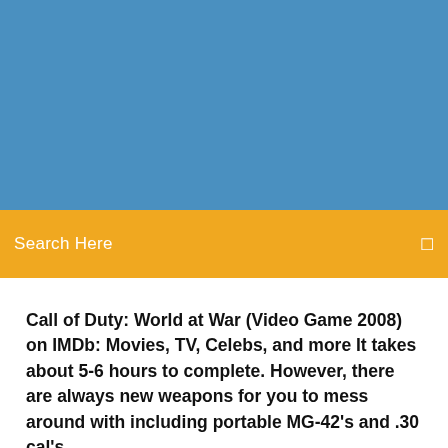[Figure (other): Blue header banner area]
Search Here
Call of Duty: World at War (Video Game 2008) on IMDb: Movies, TV, Celebs, and more It takes about 5-6 hours to complete. However, there are always new weapons for you to mess around with including portable MG-42's and .30 cal's.
PC GAME - Call of Duty: World at War - (multi7) | ...   |
6 Comments